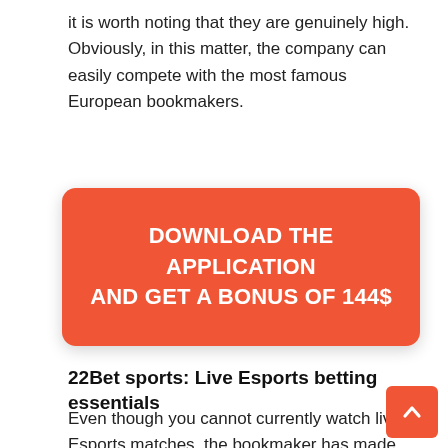it is worth noting that they are genuinely high. Obviously, in this matter, the company can easily compete with the most famous European bookmakers.
[Figure (infographic): Red rounded rectangle banner with white bold text: DOWNLOAD THE APPLICATION AND GET A BONUS OF 144$]
22Bet sports: Live Esports betting essentials
Even though you cannot currently watch live Esports matches, the bookmaker has made sure that the number of bets on various events is as varied as possible. Now, fans have the opportunity to support their favorite team, as well as to win a lot of money it.